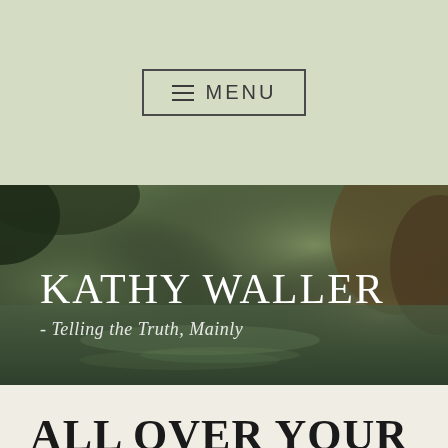≡ MENU
[Figure (photo): Outdoor nature scene showing a creek or pond with trees and foliage reflecting in the water, with overlaid blog title text 'KATHY WALLER - Telling the Truth, Mainly']
ALL OVER YOUR LEG
Posted on May 9, 2014 by Kathy Waller in authors, Cats, quotations, The Animal